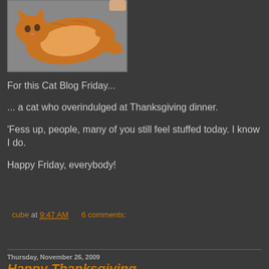[Figure (photo): Orange cat lying on its back on a gray surface, photographed from above]
For this Cat Blog Friday...
... a cat who overindulged at Thanksgiving dinner.
'Fess up, people, many of you still feel stuffed today. I know I do.
Happy Friday, everybody!
cube at 9:47 AM    6 comments:
Share
Thursday, November 26, 2009
Happy Thanksgiving